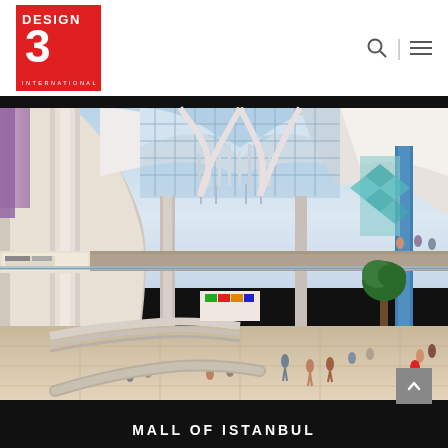Design 3 International — logo and navigation
[Figure (photo): Interior of Mall of Istanbul showing a modern multi-level shopping mall atrium with curved white ceilings, large glass skylights, hanging decorative elements, escalators, shopfronts, and shoppers on multiple floors.]
MALL OF ISTANBUL